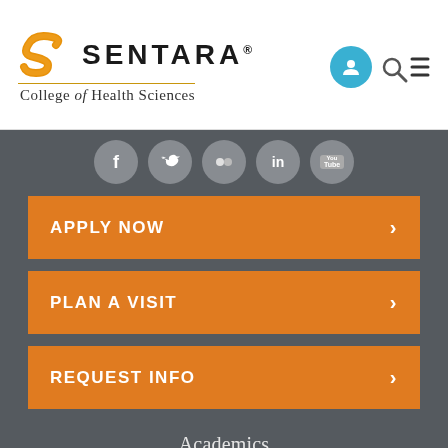[Figure (logo): Sentara College of Health Sciences logo with orange swirl S graphic and serif/sans-serif text]
[Figure (infographic): Social media icons row: Facebook, Twitter, Flickr, LinkedIn, YouTube — grey circular icons]
APPLY NOW
PLAN A VISIT
REQUEST INFO
Academics
Student Success
Faculty & Staff
Admissions & Aid